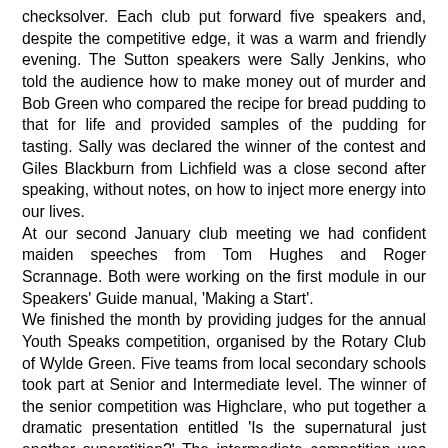checksolver. Each club put forward five speakers and, despite the competitive edge, it was a warm and friendly evening. The Sutton speakers were Sally Jenkins, who told the audience how to make money out of murder and Bob Green who compared the recipe for bread pudding to that for life and provided samples of the pudding for tasting. Sally was declared the winner of the contest and Giles Blackburn from Lichfield was a close second after speaking, without notes, on how to inject more energy into our lives.
At our second January club meeting we had confident maiden speeches from Tom Hughes and Roger Scrannage. Both were working on the first module in our Speakers' Guide manual, 'Making a Start'.
We finished the month by providing judges for the annual Youth Speaks competition, organised by the Rotary Club of Wylde Green. Five teams from local secondary schools took part at Senior and Intermediate level. The winner of the senior competition was Highclare, who put together a dramatic presentation entitled 'Is the supernatural just another superstition?' The intermediate competition was won by Bishop Vesey's Grammar School with a challenging presentation